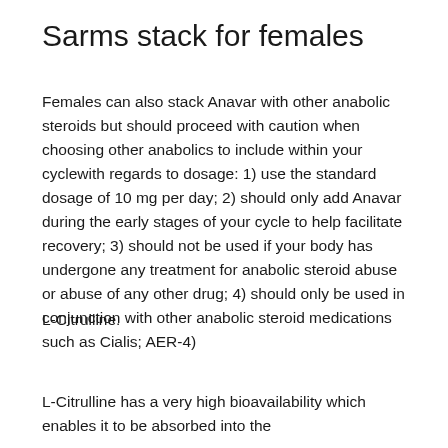Sarms stack for females
Females can also stack Anavar with other anabolic steroids but should proceed with caution when choosing other anabolics to include within your cyclewith regards to dosage: 1) use the standard dosage of 10 mg per day; 2) should only add Anavar during the early stages of your cycle to help facilitate recovery; 3) should not be used if your body has undergone any treatment for anabolic steroid abuse or abuse of any other drug; 4) should only be used in conjunction with other anabolic steroid medications such as Cialis; AER-4)
L-Citrulline.
L-Citrulline has a very high bioavailability which enables it to be absorbed into the